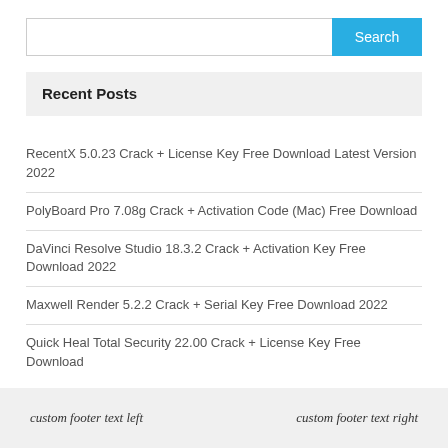Search
Recent Posts
RecentX 5.0.23 Crack + License Key Free Download Latest Version 2022
PolyBoard Pro 7.08g Crack + Activation Code (Mac) Free Download
DaVinci Resolve Studio 18.3.2 Crack + Activation Key Free Download 2022
Maxwell Render 5.2.2 Crack + Serial Key Free Download 2022
Quick Heal Total Security 22.00 Crack + License Key Free Download
custom footer text left   custom footer text right